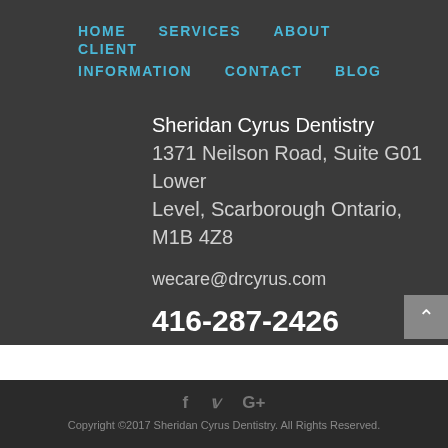HOME   SERVICES   ABOUT   CLIENT INFORMATION   CONTACT   BLOG
Sheridan Cyrus Dentistry
1371 Neilson Road, Suite G01 Lower Level, Scarborough Ontario, M1B 4Z8
wecare@drcyrus.com
416-287-2426
f  𝕏  G+
Copyright ©2017 Sheridan Cyrus Dentistry. All Rights Reserved.